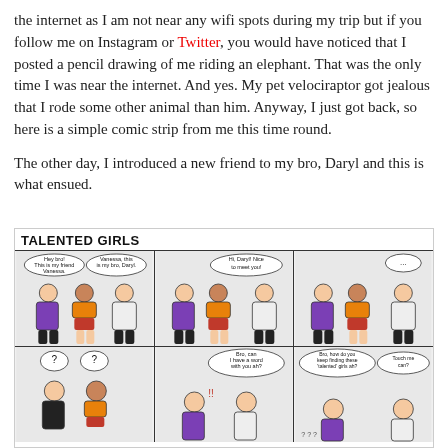the internet as I am not near any wifi spots during my trip but if you follow me on Instagram or Twitter, you would have noticed that I posted a pencil drawing of me riding an elephant. That was the only time I was near the internet. And yes. My pet velociraptor got jealous that I rode some other animal than him. Anyway, I just got back, so here is a simple comic strip from me this time round.
The other day, I introduced a new friend to my bro, Daryl and this is what ensued.
[Figure (illustration): A 2-row, 3-panel comic strip titled 'TALENTED GIRLS'. Top row: Panel 1 shows two characters introducing a girl named Vanessa to bro Daryl with speech bubbles 'Hey bro! This is my friend Vanessa.' and 'Vanessa, this is my bro, Daryl.' Panel 2 shows Daryl meeting Vanessa with speech bubble 'Hi, Daryl! Nice to meet you!' Panel 3 shows the characters with a '...' speech bubble from Daryl. Bottom row: Panel 1 shows two characters with '?' speech bubbles. Panel 2 shows a character saying 'Bro, can I have a word with you ah?' Panel 3 shows a character asking 'Bro, how do you keep finding these talented girls ah?' and another replying 'Touch me can?']